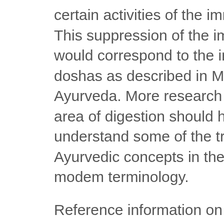certain activities of the immune system. This suppression of the immune system would correspond to the imbalance of the doshas as described in Maharishi Ayurveda. More research in this important area of digestion should help us understand some of the traditional Ayurvedic concepts in the framework of modem terminology.
Reference information on